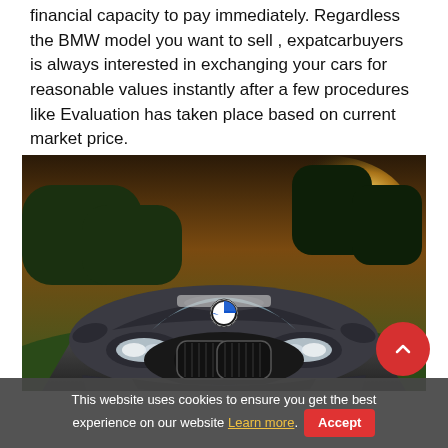financial capacity to pay immediately. Regardless the BMW model you want to sell , expatcarbuyers is always interested in exchanging your cars for reasonable values instantly after a few procedures like Evaluation has taken place based on current market price.
[Figure (photo): Front-facing BMW car (dark grey/metallic) on a road with trees and warm golden light in the background.]
This website uses cookies to ensure you get the best experience on our website Learn more. Accept